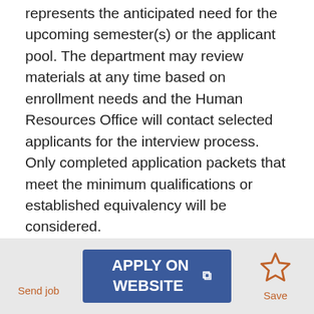represents the anticipated need for the upcoming semester(s) or the applicant pool. The department may review materials at any time based on enrollment needs and the Human Resources Office will contact selected applicants for the interview process. Only completed application packets that meet the minimum qualifications or established equivalency will be considered.
Qualified applicants who successfully complete the selection and interview process will be placed in the applicant pool and may be eligible for adjunct employment with the District anytime
Send job | APPLY ON WEBSITE | Save